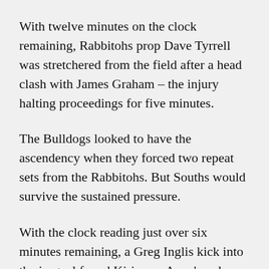With twelve minutes on the clock remaining, Rabbitohs prop Dave Tyrrell was stretchered from the field after a head clash with James Graham – the injury halting proceedings for five minutes.
The Bulldogs looked to have the ascendency when they forced two repeat sets from the Rabbitohs. But Souths would survive the sustained pressure.
With the clock reading just over six minutes remaining, a Greg Inglis kick into the in-goal found Kirisome Auva'a, who planted the ball inside the dead ball line to all but seal the